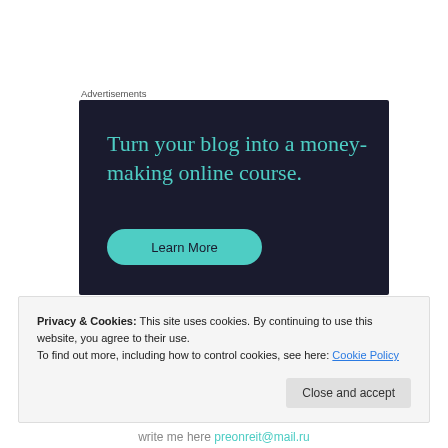Advertisements
[Figure (illustration): Dark navy advertisement banner with teal text reading 'Turn your blog into a money-making online course.' and a teal 'Learn More' button]
Privacy & Cookies: This site uses cookies. By continuing to use this website, you agree to their use.
To find out more, including how to control cookies, see here: Cookie Policy
Close and accept
write me here preonreit@mail.ru